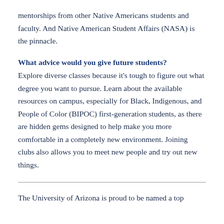mentorships from other Native Americans students and faculty. And Native American Student Affairs (NASA) is the pinnacle.
What advice would you give future students?
Explore diverse classes because it’s tough to figure out what degree you want to pursue. Learn about the available resources on campus, especially for Black, Indigenous, and People of Color (BIPOC) first-generation students, as there are hidden gems designed to help make you more comfortable in a completely new environment. Joining clubs also allows you to meet new people and try out new things.
The University of Arizona is proud to be named a top